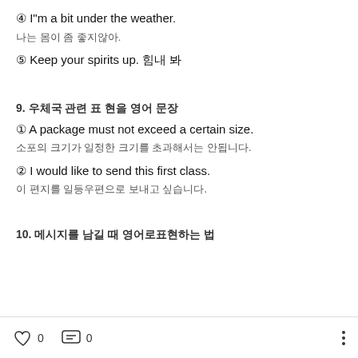④ I"m a bit under the weather.
나는 몸이 좀 좋지않아.
⑤ Keep your spirits up. 힘내 봐
9. 우체국 관련 표 현을 영어 문장
① A package must not exceed a certain size.
소포의 크기가 일정한 크기를 초과해서는 안됩니다.
② I would like to send this first class.
이 편지를 일등우편으로 보내고 싶습니다.
10. 메시지를 남길 때 영어로표현하는 법
♡ 0   💬 0   ···